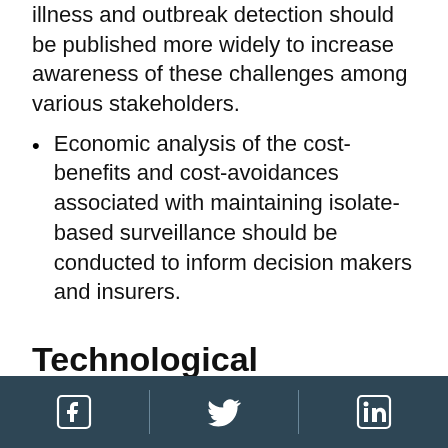illness and outbreak detection should be published more widely to increase awareness of these challenges among various stakeholders.
Economic analysis of the cost-benefits and cost-avoidances associated with maintaining isolate-based surveillance should be conducted to inform decision makers and insurers.
Technological solutions
Characterization of foodborne disease surveillance isolates to the level accomplished by WGS is needed for outbreak detection and to monitor trends in pathogen virulence and antimicrobial resistance. There are a number of intrinsic challenges with
Facebook | Twitter | LinkedIn